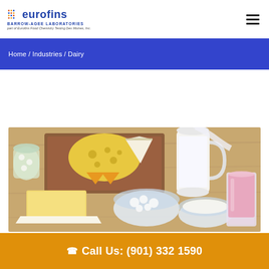[Figure (logo): Eurofins Barrow-Agee Laboratories logo with colorful dot grid icon, blue text 'eurofins', 'BARROW-AGEE LABORATORIES', italic subtitle 'part of Eurofins Food Chemistry Testing Des Moines, Inc.']
Home / Industries / Dairy
[Figure (photo): Assortment of dairy products on a wooden table including milk in a glass jar and pitcher, yellow Swiss cheese, Brie wedge, small cheese triangles, butter block on parchment paper, cottage cheese in glass bowl, sour cream in white bowl, and a glass of pink strawberry yogurt.]
Call Us: (901) 332 1590